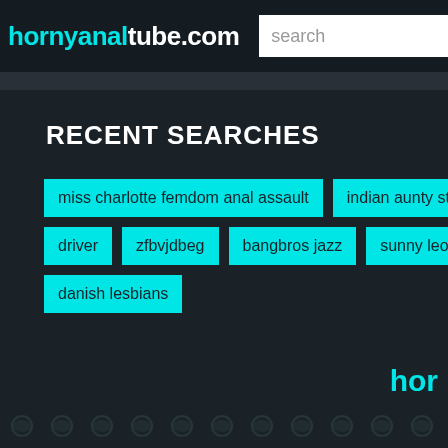hornyanaltube.com
RECENT SEARCHES
miss charlotte femdom anal assault
indian aunty stripping
x
driver
zfbvjdbeg
bangbros jazz
sunny leone xvideo radha
danish lesbians
hor